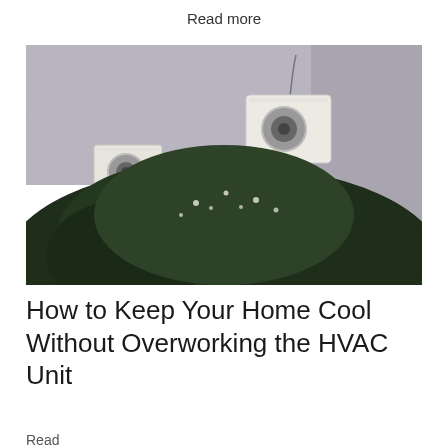Read more
[Figure (photo): Two HVAC/air conditioning outdoor units mounted on a gray wall, partially obscured by a large green bush/shrub with white flowers in the foreground.]
How to Keep Your Home Cool Without Overworking the HVAC Unit
Read